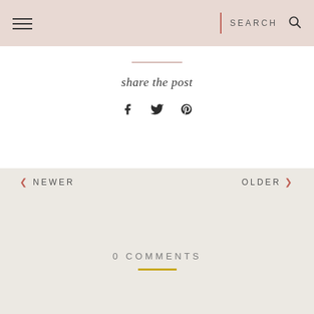SEARCH
share the post
Facebook, Twitter, Pinterest social share icons
NEWER
OLDER
0 COMMENTS